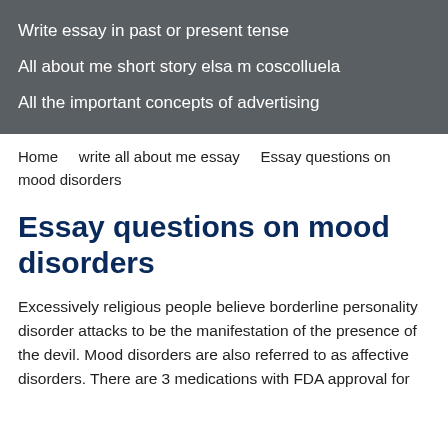Write essay in past or present tense
All about me short story elsa m coscolluela
All the important concepts of advertising
Home   write all about me essay   Essay questions on mood disorders
Essay questions on mood disorders
Excessively religious people believe borderline personality disorder attacks to be the manifestation of the presence of the devil. Mood disorders are also referred to as affective disorders. There are 3 medications with FDA approval for